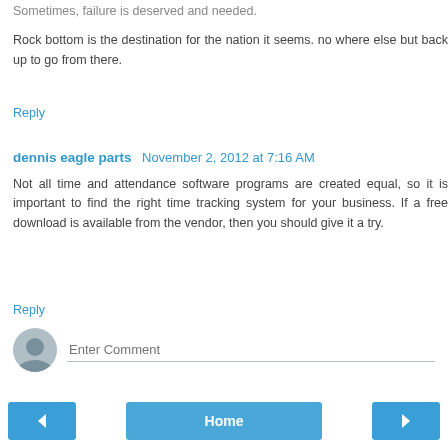Sometimes, failure is deserved and needed. Rock bottom is the destination for the nation it seems. no where else but back up to go from there.
Reply
dennis eagle parts  November 2, 2012 at 7:16 AM
Not all time and attendance software programs are created equal, so it is important to find the right time tracking system for your business. If a free download is available from the vendor, then you should give it a try.
Reply
Enter Comment
Home